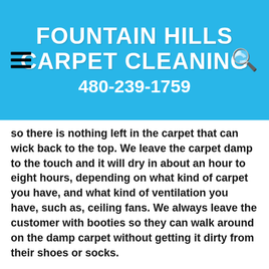FOUNTAIN HILLS CARPET CLEANING 480-239-1759
so there is nothing left in the carpet that can wick back to the top. We leave the carpet damp to the touch and it will dry in about an hour to eight hours, depending on what kind of carpet you have, and what kind of ventilation you have, such as, ceiling fans. We always leave the customer with booties so they can walk around on the damp carpet without getting it dirty from their shoes or socks.
You can also get one last thing applied to you carpet: Scotchgard. This is a very good thing to invest in if you want you carpet to last as long as possible. If you read the manufacturer's label on the backing, it will suggest that you Scotchgard your carpet yearly, or each time you clean the carpet. Even if you have carpet that has Scotchgard applied to it when it was manufactured, you still need to apply the Scotchgard each time it is cleaned, as the high heat we use strips the old Scotchgard off. Scotchgard protects your